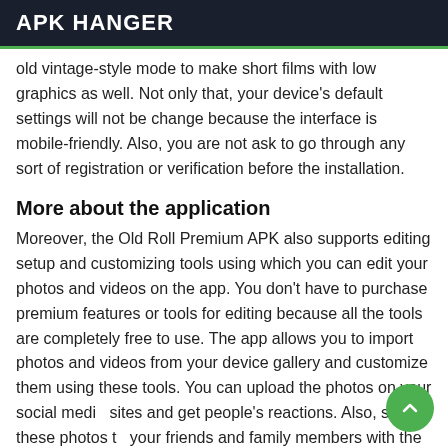APK HANGER
old vintage-style mode to make short films with low graphics as well. Not only that, your device's default settings will not be change because the interface is mobile-friendly. Also, you are not ask to go through any sort of registration or verification before the installation.
More about the application
Moreover, the Old Roll Premium APK also supports editing setup and customizing tools using which you can edit your photos and videos on the app. You don't have to purchase premium features or tools for editing because all the tools are completely free to use. The app allows you to import photos and videos from your device gallery and customize them using these tools. You can upload the photos on your social media sites and get people's reactions. Also, send these photos to your friends and family members with the share button on the